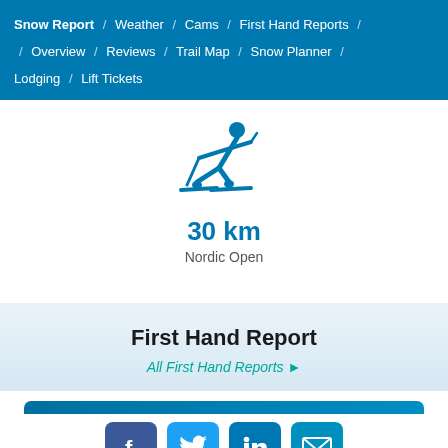Snow Report / Weather / Cams / First Hand Reports / Overview / Reviews / Trail Map / Snow Planner / Lodging / Lift Tickets
[Figure (illustration): Nordic cross-country skier icon in blue]
30 km
Nordic Open
First Hand Report
All First Hand Reports ▶